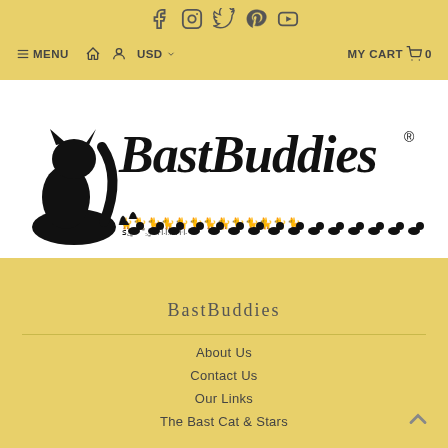Social icons: Facebook, Instagram, Twitter, Pinterest, YouTube
≡ MENU  🏠  👤  USD ▾  MY CART 🛒 0
[Figure (logo): BastBuddies logo: large stylized black cat silhouette on left, cursive 'BastBuddies' text with trademark symbol, row of small cat silhouettes below]
BastBuddies
About Us
Contact Us
Our Links
The Bast Cat & Stars